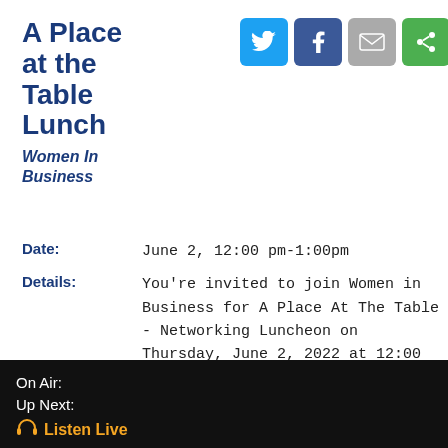A Place at the Table Lunch
Women In Business
[Figure (infographic): Social media sharing icons: Twitter (blue bird), Facebook (blue f), Email (grey envelope), Share (green share icon), and a calendar add button]
Date: June 2, 12:00 pm-1:00pm
Details: You're invited to join Women in Business for A Place At The Table - Networking Luncheon on Thursday, June 2, 2022 at 12:00 PM at KAFM's Radio Room (1310 Ute Avenue, Grand Junction). Learn more about the Women in Business group and network! Please bring a soup, salad, or side dish to share
On Air:
Up Next:
🎧 Listen Live